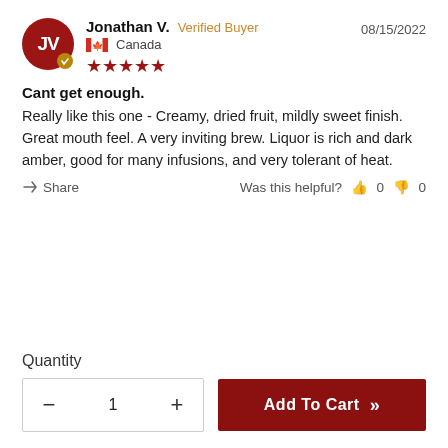Jonathan V. Verified Buyer — 08/15/2022 — Canada — 5 stars
Cant get enough.
Really like this one - Creamy, dried fruit, mildly sweet finish. Great mouth feel. A very inviting brew. Liquor is rich and dark amber, good for many infusions, and very tolerant of heat.
Share — Was this helpful? 👍 0 👎 0
Quantity
- 1 + Add To Cart »